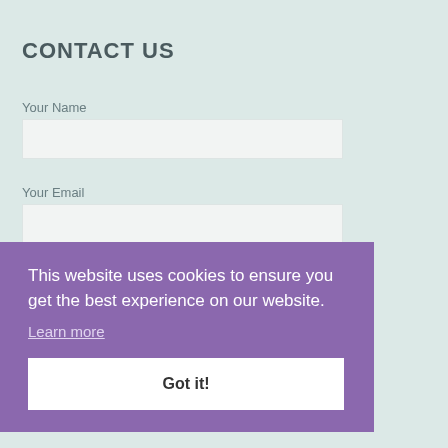CONTACT US
Your Name
[Figure (other): Text input field for Your Name]
Your Email
[Figure (other): Text input field for Your Email]
Your Phone
[Figure (other): Text input field for Your Phone]
Message
[Figure (other): Text input field for Message]
This website uses cookies to ensure you get the best experience on our website.
Learn more
Got it!